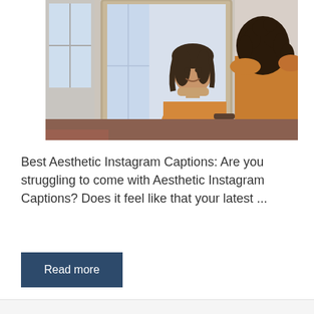[Figure (photo): A young woman with dark hair looking at herself smiling in an ornate white mirror, with her reflection visible. She is wearing an orange/mustard top. Another person with curly dark hair in an orange top is seen from behind in the foreground right.]
Best Aesthetic Instagram Captions: Are you struggling to come with Aesthetic Instagram Captions? Does it feel like that your latest ...
Read more